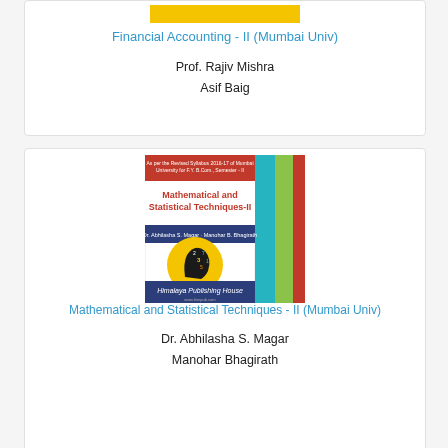[Figure (illustration): Book cover thumbnail for Financial Accounting II with yellow banner]
Financial Accounting - II (Mumbai Univ)
Prof. Rajiv Mishra
Asif Baig
[Figure (illustration): Book cover for Mathematical and Statistical Techniques-II by Himalaya Publishing House, showing a head silhouette with numbers]
Mathematical and Statistical Techniques - II (Mumbai Univ)
Dr. Abhilasha S. Magar
Manohar Bhagirath